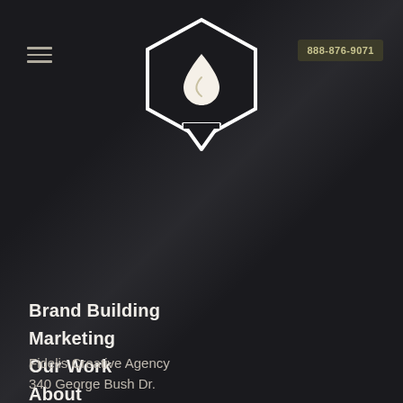[Figure (logo): Hexagon-shaped logo with a white water droplet icon inside on dark background]
888-876-9071
Brand Building
Marketing
Our Work
About
Contact
Blog
The Brand Manual Podcast
Fidelis Creative Agency
340 George Bush Dr.